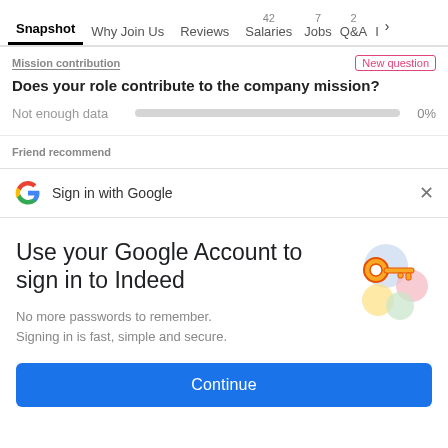Snapshot  Why Join Us  Reviews  42 Salaries  7 Jobs  2 Q&A  I >
Mission contribution
New question
Does your role contribute to the company mission?
Not enough data  0%
Friend recommend
Sign in with Google
Use your Google Account to sign in to Indeed
No more passwords to remember. Signing in is fast, simple and secure.
Continue